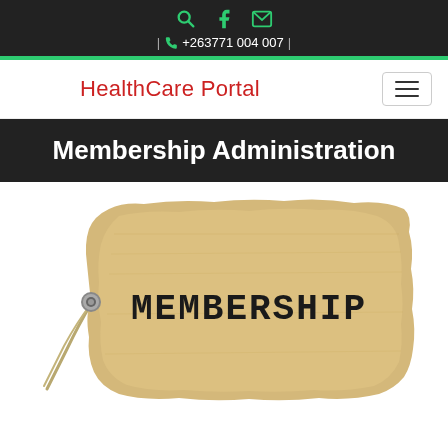+263771 004 007
HealthCare Portal
Membership Administration
[Figure (illustration): A cardboard price tag / label with the word MEMBERSHIP written on it in bold block letters, with a string attached through a metal eyelet on the left side.]